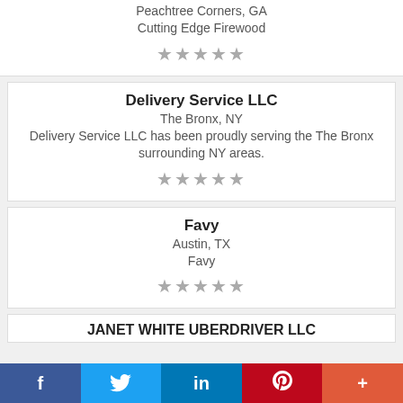Peachtree Corners, GA
Cutting Edge Firewood
★★★★★
Delivery Service LLC
The Bronx, NY
Delivery Service LLC has been proudly serving the The Bronx surrounding NY areas.
★★★★★
Favy
Austin, TX
Favy
★★★★★
JANET WHITE UBERDRIVER LLC
[Figure (infographic): Social sharing bar with Facebook (blue), Twitter (light blue), LinkedIn (dark blue), Pinterest (red), and More (+) (orange-red) buttons]